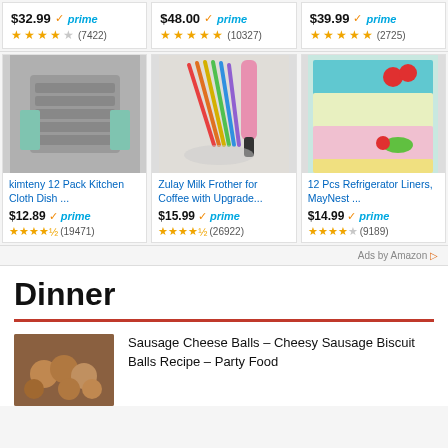[Figure (screenshot): Amazon product grid top row showing three products with prices $32.99, $48.00, $39.99 all with Prime, and star ratings]
[Figure (photo): Gray kitchen cloth dish towels stacked]
kimteny 12 Pack Kitchen Cloth Dish ...
$12.89 prime (19471)
[Figure (photo): Zulay milk frother set with multiple colorful handles and pink frother]
Zulay Milk Frother for Coffee with Upgrade...
$15.99 prime (26922)
[Figure (photo): Colorful refrigerator liner mats with vegetables]
12 Pcs Refrigerator Liners, MayNest ...
$14.99 prime (9189)
Ads by Amazon
Dinner
[Figure (photo): Sausage cheese balls on a plate]
Sausage Cheese Balls – Cheesy Sausage Biscuit Balls Recipe – Party Food